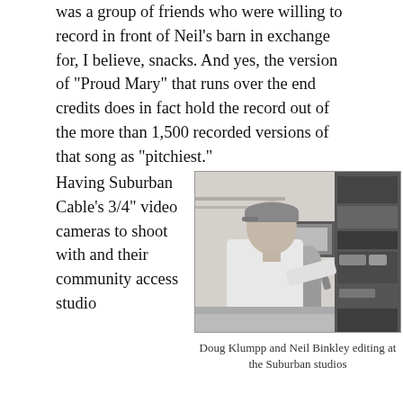was a group of friends who were willing to record in front of Neil's barn in exchange for, I believe, snacks. And yes, the version of "Proud Mary" that runs over the end credits does in fact hold the record out of the more than 1,500 recorded versions of that song as "pitchiest."
Having Suburban Cable's 3/4" video cameras to shoot with and their community access studio
[Figure (photo): Black and white photo of two people, Doug Klumpp and Neil Binkley, working at editing equipment at the Suburban studios. One person in a white t-shirt is leaning forward reaching toward equipment.]
Doug Klumpp and Neil Binkley editing at the Suburban studios